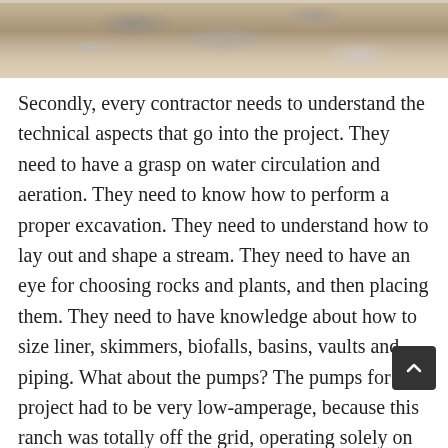[Figure (photo): Top portion of a photo showing rocky/sandy ground or excavation site with earth tones of brown and tan]
Secondly, every contractor needs to understand the technical aspects that go into the project. They need to have a grasp on water circulation and aeration. They need to know how to perform a proper excavation. They need to understand how to lay out and shape a stream. They need to have an eye for choosing rocks and plants, and then placing them. They need to have knowledge about how to size liner, skimmers, biofalls, basins, vaults and piping. What about the pumps? The pumps for this project had to be very low-amperage, because this ranch was totally off the grid, operating solely on solar power.
Third, small contractors need to know how to integrate the water feature into the rest of the landscape. They should be able to determine the best location for the